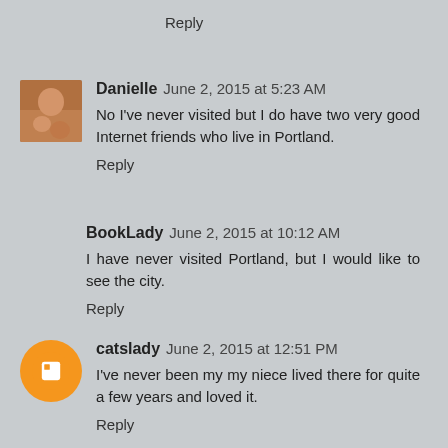Reply
Danielle   June 2, 2015 at 5:23 AM
No I've never visited but I do have two very good Internet friends who live in Portland.
Reply
BookLady   June 2, 2015 at 10:12 AM
I have never visited Portland, but I would like to see the city.
Reply
catslady   June 2, 2015 at 12:51 PM
I've never been my my niece lived there for quite a few years and loved it.
Reply